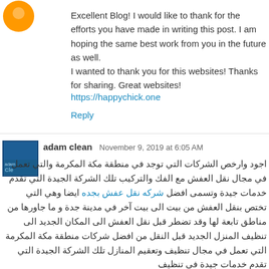[Figure (illustration): Orange circular avatar icon at top left]
Excellent Blog! I would like to thank for the efforts you have made in writing this post. I am hoping the same best work from you in the future as well.
I wanted to thank you for this websites! Thanks for sharing. Great websites!
https://happychick.one
Reply
[Figure (illustration): Small blue square avatar for adam clean]
adam clean  November 9, 2019 at 6:05 AM
اجود وارخص الشركات التي توجد في منطقة مكة المكرمة والتي تعمل في مجال نقل العفش مع الفك والتركيب تلك الشركة الجيدة التي تقدم خدمات جيدة وتسمى افضل شركه نقل عفش بجده ايضا وهي التي تختص بنقل العفش من بيت الى بيت آخر في مدينة جدة و ما جاورها من مناطق تابعة لها وقد تضطر قبل نقل العفش الى المكان الجديد الى تنظيف المنزل الجديد قبل النقل من افضل شركات منطقة مكة المكرمة التي تعمل في مجال تنظيف وتعقيم المنازل تلك الشركة الجيدة التي تقدم خدمات جيدة في تنظيف